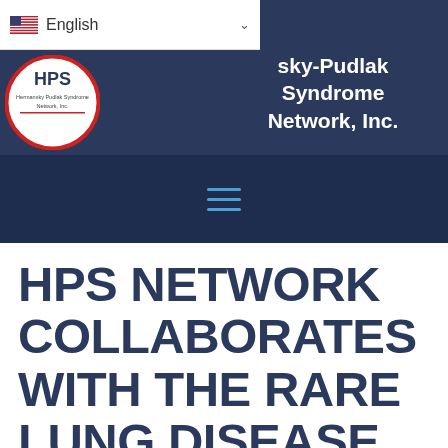English — Hermansky-Pudlak Syndrome Network, Inc.
[Figure (logo): HPS Network circular logo with red border and text 'Hermansky Pudlak Syndrome Network, Inc.']
HPS NETWORK COLLABORATES WITH THE RARE LUNG DISEASE CONSORTIUM TO ACCELERATE